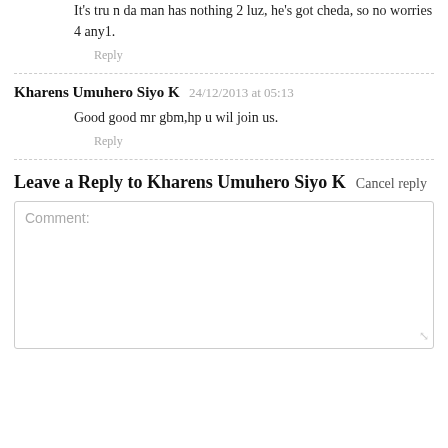It's tru n da man has nothing 2 luz, he's got cheda, so no worries 4 any1.
Reply
Kharens Umuhero Siyo K 24/12/2013 at 05:13
Good good mr gbm,hp u wil join us.
Reply
Leave a Reply to Kharens Umuhero Siyo K   Cancel reply
Comment: